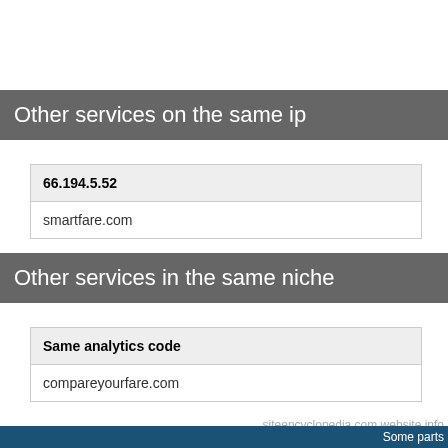Other services on the same ip
| 66.194.5.52 |
| --- |
| smartfare.com |
Other services in the same niche
| Same analytics code |
| --- |
| compareyourfare.com |
siteencyclopedia.com website info
This service is provided for informational purposes o
Some parts